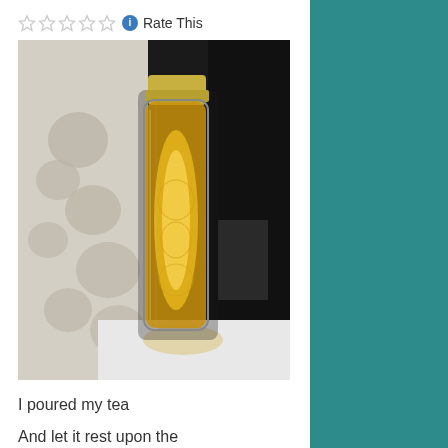Rate This
[Figure (photo): A glass bottle/tumbler filled with golden tea, glowing from backlighting, with a gold metallic lid. The bottle has a decorative floral pattern etched on it. It sits on a white surface with a ceramic mug/vase with floral pattern visible on the left, and dark background on the right.]
I poured my tea
And let it rest upon the